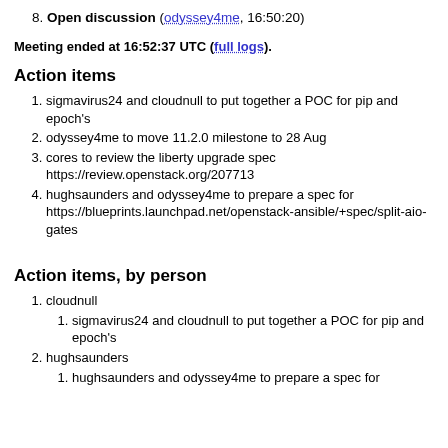8. Open discussion (odyssey4me, 16:50:20)
Meeting ended at 16:52:37 UTC (full logs).
Action items
1. sigmavirus24 and cloudnull to put together a POC for pip and epoch's
2. odyssey4me to move 11.2.0 milestone to 28 Aug
3. cores to review the liberty upgrade spec https://review.openstack.org/207713
4. hughsaunders and odyssey4me to prepare a spec for https://blueprints.launchpad.net/openstack-ansible/+spec/split-aio-gates
Action items, by person
1. cloudnull
1. sigmavirus24 and cloudnull to put together a POC for pip and epoch's
2. hughsaunders
1. hughsaunders and odyssey4me to prepare a spec for